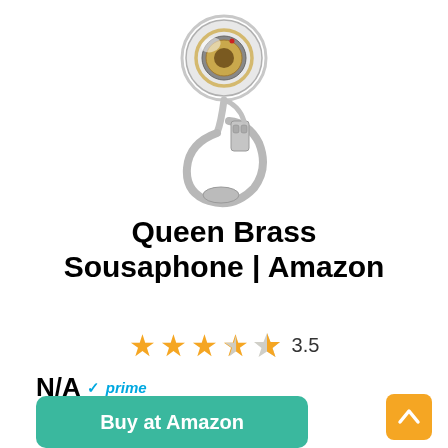[Figure (photo): Silver sousaphone / helicon brass instrument on white background]
Queen Brass Sousaphone | Amazon
★★★½☆ 3.5
N/A ✓prime
Buy at Amazon